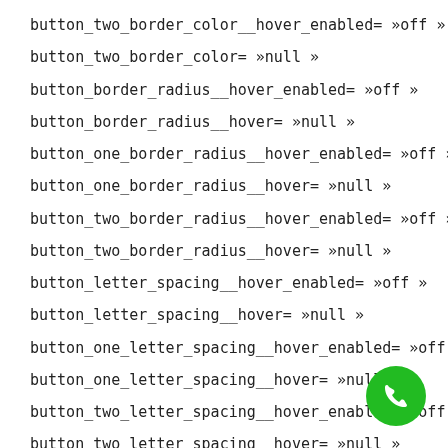button_two_border_color__hover_enabled= »off »
button_two_border_color= »null »
button_border_radius__hover_enabled= »off »
button_border_radius__hover= »null »
button_one_border_radius__hover_enabled= »off »
button_one_border_radius__hover= »null »
button_two_border_radius__hover_enabled= »off »
button_two_border_radius__hover= »null »
button_letter_spacing__hover_enabled= »off »
button_letter_spacing__hover= »null »
button_one_letter_spacing__hover_enabled= »off »
button_one_letter_spacing__hover= »null »
button_two_letter_spacing__hover_enabled= »off »
button_two_letter_spacing__hover= »null »
button_bg_color__hover_enabled= »off »
button_bg_color__hover= »null »